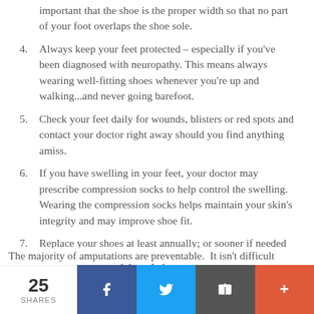important that the shoe is the proper width so that no part of your foot overlaps the shoe sole.
4. Always keep your feet protected – especially if you've been diagnosed with neuropathy. This means always wearing well-fitting shoes whenever you're up and walking...and never going barefoot.
5. Check your feet daily for wounds, blisters or red spots and contact your doctor right away should you find anything amiss.
6. If you have swelling in your feet, your doctor may prescribe compression socks to help control the swelling. Wearing the compression socks helps maintain your skin's integrity and may improve shoe fit.
7. Replace your shoes at least annually; or sooner if needed or recommended by your physician.
The majority of amputations are preventable.  It isn't difficult